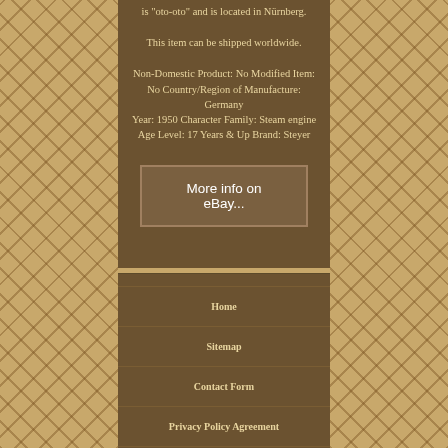is "oto-oto" and is located in Nürnberg.
This item can be shipped worldwide.
Non-Domestic Product: No Modified Item: No Country/Region of Manufacture: Germany Year: 1950 Character Family: Steam engine Age Level: 17 Years & Up Brand: Steyer
[Figure (screenshot): Button image with text 'More info on eBay...' on a dark brown/olive background with border]
Home
Sitemap
Contact Form
Privacy Policy Agreement